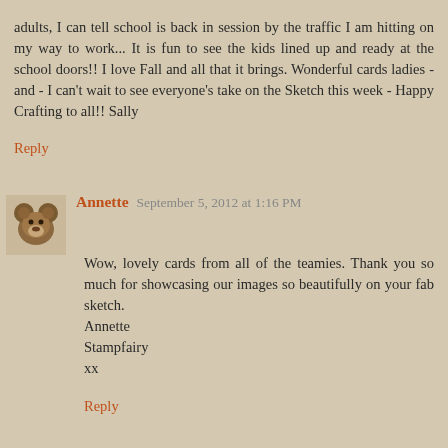adults, I can tell school is back in session by the traffic I am hitting on my way to work... It is fun to see the kids lined up and ready at the school doors!! I love Fall and all that it brings. Wonderful cards ladies - and - I can't wait to see everyone's take on the Sketch this week - Happy Crafting to all!! Sally
Reply
Annette  September 5, 2012 at 1:16 PM
Wow, lovely cards from all of the teamies. Thank you so much for showcasing our images so beautifully on your fab sketch.
Annette
Stampfairy
xx
Reply
Arlana 11426  September 6, 2012 at 12:36 AM
Such a fun post Linda. That School bus is so cute!!! I want